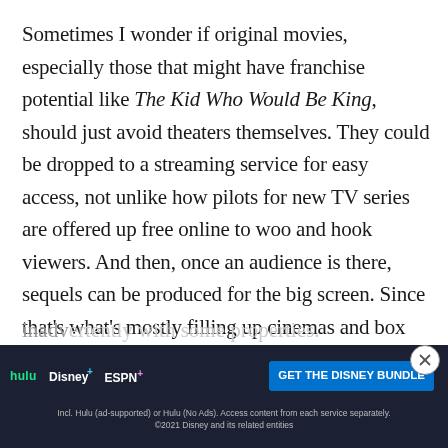Sometimes I wonder if original movies, especially those that might have franchise potential like The Kid Who Would Be King, should just avoid theaters themselves. They could be dropped to a streaming service for easy access, not unlike how pilots for new TV series are offered up free online to woo and hook viewers. And then, once an audience is there, sequels can be produced for the big screen. Since that's what's mostly filling up cinemas and box office rankings anyway lately. I know, that idea makes absolutely no sense business-wise, even if it's sort of worked inadvertently with some properties.
[Figure (screenshot): Advertisement banner for Disney Bundle (Hulu, Disney+, ESPN+) with blue call-to-action button 'GET THE DISNEY BUNDLE' on dark background, with fine print about subscription terms.]